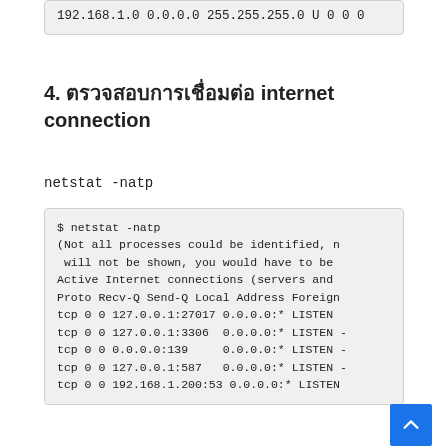192.168.1.0 0.0.0.0 255.255.255.0 U 0 0 0
4. ตรวจสอบการเชื่อมต่อ internet connection
netstat -natp
$ netstat -natp
(Not all processes could be identified, n
 will not be shown, you would have to be
Active Internet connections (servers and
Proto Recv-Q Send-Q Local Address Foreign
tcp 0 0 127.0.0.1:27017 0.0.0.0:* LISTEN
tcp 0 0 127.0.0.1:3306 0.0.0.0:* LISTEN -
tcp 0 0 0.0.0.0:139 0.0.0.0:* LISTEN -
tcp 0 0 127.0.0.1:587 0.0.0.0:* LISTEN -
tcp 0 0 192.168.1.200:53 0.0.0.0:* LISTEN